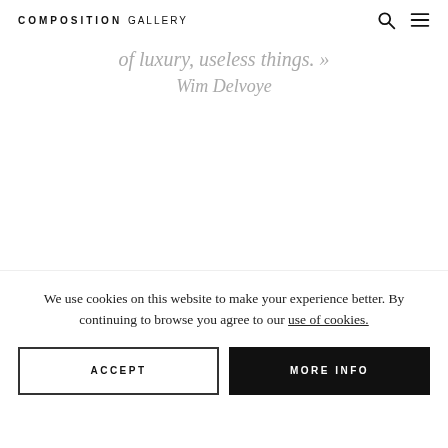COMPOSITION GALLERY
of luxury, useless things. »
Wim Delvoye
We use cookies on this website to make your experience better. By continuing to browse you agree to our use of cookies.
ACCEPT
MORE INFO